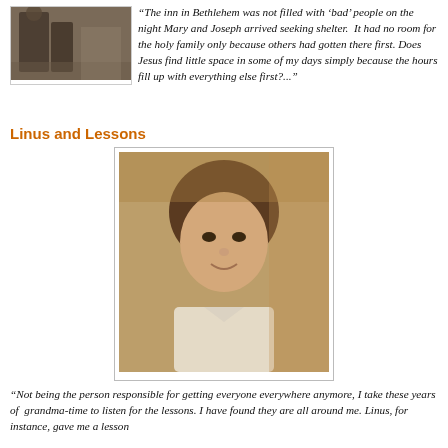[Figure (photo): Black and white photo of figures walking, likely Mary and Joseph scene]
"The inn in Bethlehem was not filled with 'bad' people on the night Mary and Joseph arrived seeking shelter. It had no room for the holy family only because others had gotten there first. Does Jesus find little space in some of my days simply because the hours fill up with everything else first?..."
Linus and Lessons
[Figure (photo): Portrait painting of a young boy with short brown hair, smiling, wearing white clothing]
"Not being the person responsible for getting everyone everywhere anymore, I take these years of grandma-time to listen for the lessons. I have found they are all around me. Linus, for instance, gave me a lesson